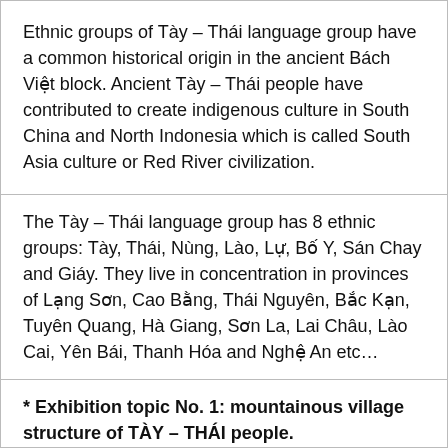Ethnic groups of Tày – Thái language group have a common historical origin in the ancient Bách Việt block. Ancient Tày – Thái people have contributed to create indigenous culture in South China and North Indonesia which is called South Asia culture or Red River civilization.
The Tày – Thái language group has 8 ethnic groups: Tày, Thái, Nùng, Lào, Lự, Bố Y, Sán Chay and Giáy. They live in concentration in provinces of Lạng Sơn, Cao Bằng, Thái Nguyên, Bắc Kạn, Tuyên Quang, Hà Giang, Sơn La, Lai Châu, Lào Cai, Yên Bái, Thanh Hóa and Nghệ An etc…
* Exhibition topic No. 1: mountainous village structure of TÀY – THÁI people.
Mountainous villages of ethnic groups of Tày – Thái language family are often built in valleys or slopes of hills. Every village has from 20 – 25 houses, and up to tens of houses in big...